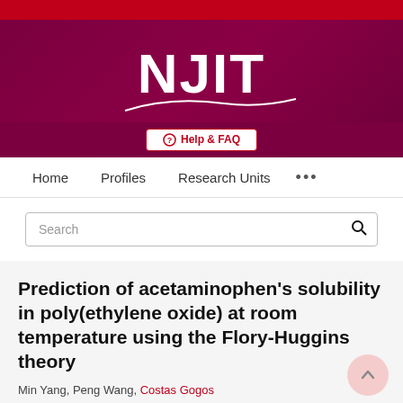[Figure (logo): NJIT - New Jersey Institute of Technology logo and website header banner with red and dark maroon/purple background, including Help & FAQ button]
Home   Profiles   Research Units   ...
Search
Prediction of acetaminophen's solubility in poly(ethylene oxide) at room temperature using the Flory-Huggins theory
Min Yang, Peng Wang, Costas Gogos